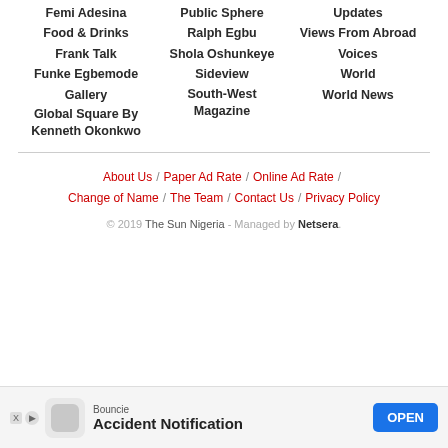Femi Adesina
Food & Drinks
Frank Talk
Funke Egbemode
Gallery
Global Square By Kenneth Okonkwo
Public Sphere
Ralph Egbu
Shola Oshunkeye
Sideview
South-West Magazine
Updates
Views From Abroad
Voices
World
World News
About Us / Paper Ad Rate / Online Ad Rate / Change of Name / The Team / Contact Us / Privacy Policy
© 2019 The Sun Nigeria - Managed by Netsera.
[Figure (infographic): Ad banner for Bouncie Accident Notification app with OPEN button]